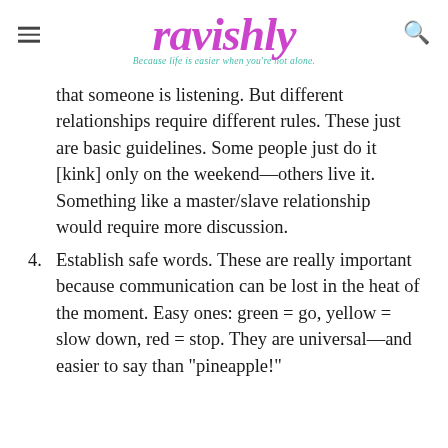ravishly — Because life is easier when you're not alone.
that someone is listening. But different relationships require different rules. These just are basic guidelines. Some people just do it [kink] only on the weekend—others live it. Something like a master/slave relationship would require more discussion.
4. Establish safe words. These are really important because communication can be lost in the heat of the moment. Easy ones: green = go, yellow = slow down, red = stop. They are universal—and easier to say than "pineapple!"